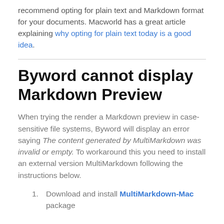recommend opting for plain text and Markdown format for your documents. Macworld has a great article explaining why opting for plain text today is a good idea.
Byword cannot display Markdown Preview
When trying the render a Markdown preview in case-sensitive file systems, Byword will display an error saying The content generated by MultiMarkdown was invalid or empty. To workaround this you need to install an external version MultiMarkdown following the instructions below.
Download and install MultiMarkdown-Mac package